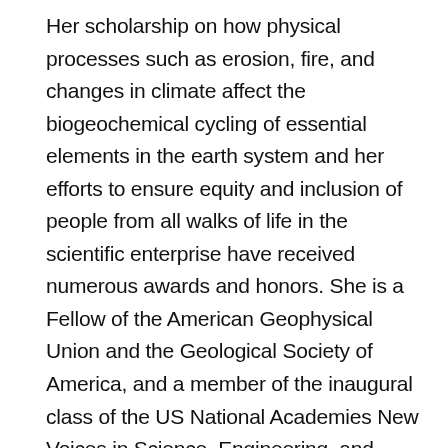Her scholarship on how physical processes such as erosion, fire, and changes in climate affect the biogeochemical cycling of essential elements in the earth system and her efforts to ensure equity and inclusion of people from all walks of life in the scientific enterprise have received numerous awards and honors. She is a Fellow of the American Geophysical Union and the Geological Society of America, and a member of the inaugural class of the US National Academies New Voices in Science, Engineering, and Medicine.
Asmeret was born and raised in Asmara, Eritrea. She received a B.Sc. in Soil and Water Conservation from the University of Asmara, an M.Sc. in Political Ecology from Michigan State University, and a Ph.D. in Biogeochemistry from